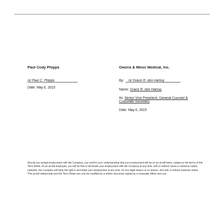Paul Cody Phipps
Owens & Minor Medical, Inc.
/s/ Paul C. Phipps
By: /s/ Grace R. den Hartog
Date: May 6, 2015
Name: Grace R. den Hartog
Its: Senior Vice President, General Counsel & Corporate Secretary
Date: May 6, 2015
Should you accept employment with the Company, you confirm your understanding that your employment will be on an at will basis, subject to the terms of this Term Sheet. As an at-will employee, you will be free to terminate your employment with the Company at any time, with or without cause or advance notice. Likewise, the Company will have the right to terminate your employment at any time, for any legal reason or no reason, and with or without advance notice. This at-will relationship and this Term Sheet can only be modified by a written document signed by a corporate officer and you.